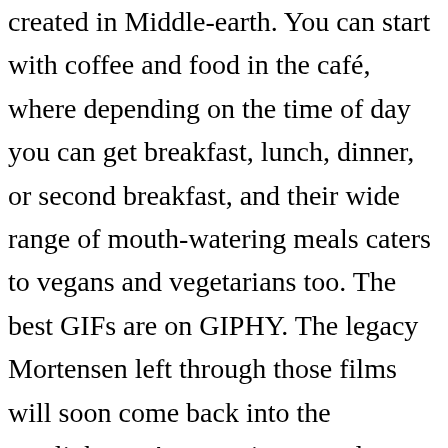created in Middle-earth. You can start with coffee and food in the café, where depending on the time of day you can get breakfast, lunch, dinner, or second breakfast, and their wide range of mouth-watering meals caters to vegans and vegetarians too. The best GIFs are on GIPHY. The legacy Mortensen left through those films will soon come back into the spotlight, as Amazon is currently producing its own Lord of the Rings-based series. Though Peter Jackson's Lord of the Rings films didn't explicitly pair Frodo and Sam together romantically, the sizable amount of subtext